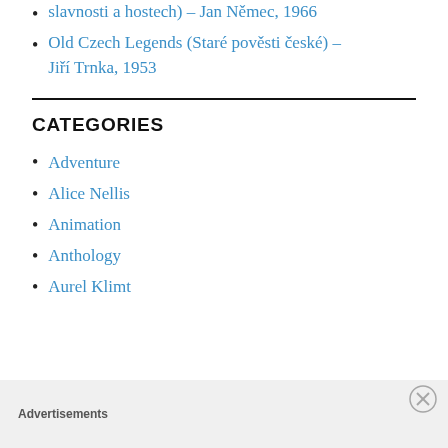The Party and the Guests (O slavnosti a hostech) – Jan Němec, 1966
Old Czech Legends (Staré pověsti české) – Jiří Trnka, 1953
CATEGORIES
Adventure
Alice Nellis
Animation
Anthology
Aurel Klimt
Advertisements